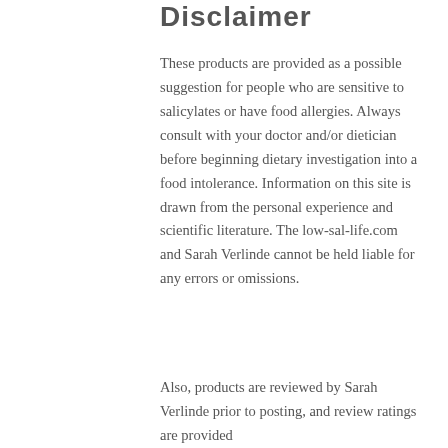Disclaimer
These products are provided as a possible suggestion for people who are sensitive to salicylates or have food allergies. Always consult with your doctor and/or dietician before beginning dietary investigation into a food intolerance. Information on this site is drawn from the personal experience and scientific literature. The low-sal-life.com and Sarah Verlinde cannot be held liable for any errors or omissions.
Also, products are reviewed by Sarah Verlinde prior to posting, and review ratings are provided